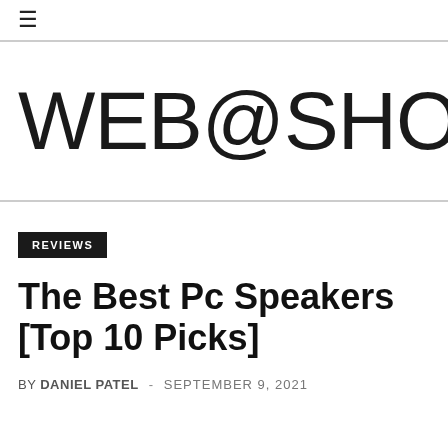☰ WEB@SHOPPING@
REVIEWS
The Best Pc Speakers [Top 10 Picks]
BY DANIEL PATEL - SEPTEMBER 9, 2021